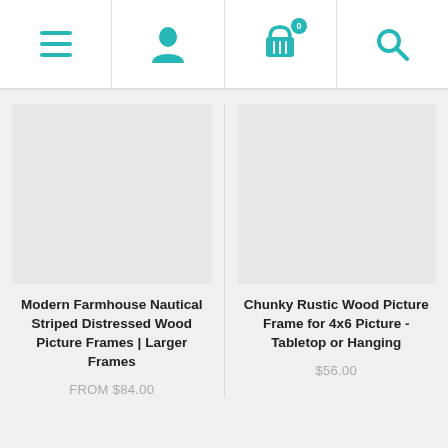[Figure (screenshot): Mobile app navigation bar with four teal icons: hamburger menu, user profile, shopping basket with badge showing 0, and search magnifier]
[Figure (photo): Product image placeholder (light gray rectangle) for Modern Farmhouse Nautical Striped Distressed Wood Picture Frames]
Modern Farmhouse Nautical Striped Distressed Wood Picture Frames | Larger Frames
FROM $84.00
[Figure (photo): Product image placeholder (light gray rectangle) for Chunky Rustic Wood Picture Frame]
Chunky Rustic Wood Picture Frame for 4x6 Picture - Tabletop or Hanging
$56.00